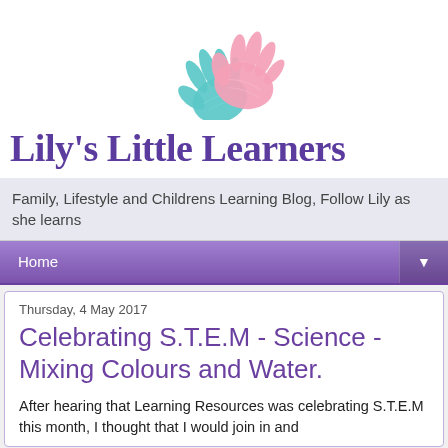[Figure (logo): Two overlapping hand prints, one teal/blue and one pink, forming a heart-like shape — the logo for Lily's Little Learners blog]
Lily's Little Learners
Family, Lifestyle and Childrens Learning Blog, Follow Lily as she learns
Home
Thursday, 4 May 2017
Celebrating S.T.E.M - Science - Mixing Colours and Water.
After hearing that Learning Resources was celebrating S.T.E.M this month, I thought that I would join in and